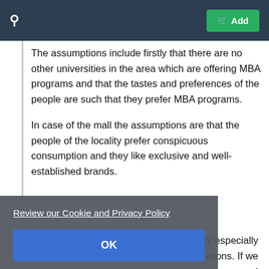Add
The assumptions include firstly that there are no other universities in the area which are offering MBA programs and that the tastes and preferences of the people are such that they prefer MBA programs.
In case of the mall the assumptions are that the people of the locality prefer conspicuous consumption and they like exclusive and well-established brands.
Review our Cookie and Privacy Policy
OK
nt especially asons. If we ent decision in the question given above, the recruitment